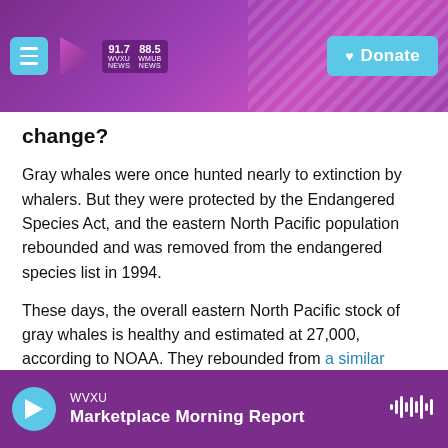WVXU 91.7 NEWS | WMUB 88.5 NEWS | Donate
change?
Gray whales were once hunted nearly to extinction by whalers. But they were protected by the Endangered Species Act, and the eastern North Pacific population rebounded and was removed from the endangered species list in 1994.
These days, the overall eastern North Pacific stock of gray whales is healthy and estimated at 27,000, according to NOAA. They rebounded from a similar spike in deaths in 1999 and 2000, and scientists think it's possible they've simply reached what's
WVXU
Marketplace Morning Report